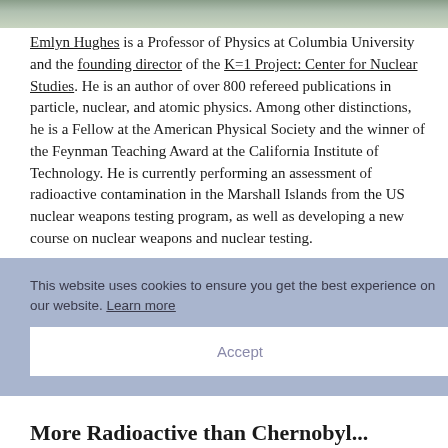[Figure (photo): Top portion of a photo, showing a blurred outdoor or person image, cropped at the top of the page.]
Emlyn Hughes is a Professor of Physics at Columbia University and the founding director of the K=1 Project: Center for Nuclear Studies. He is an author of over 800 refereed publications in particle, nuclear, and atomic physics. Among other distinctions, he is a Fellow at the American Physical Society and the winner of the Feynman Teaching Award at the California Institute of Technology. He is currently performing an assessment of radioactive contamination in the Marshall Islands from the US nuclear weapons testing program, as well as developing a new course on nuclear weapons and nuclear testing.
This website uses cookies to ensure you get the best experience on our website. Learn more
Accept
More Radioactive than Chernobyl...